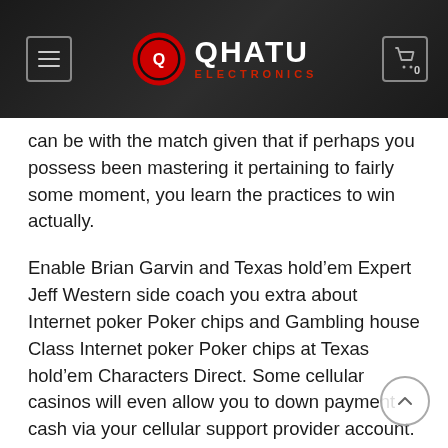QHATU ELECTRONICS
can be with the match given that if perhaps you possess been mastering it pertaining to fairly some moment, you learn the practices to win actually.
Enable Brian Garvin and Texas hold’em Expert Jeff Western side coach you extra about Internet poker Poker chips and Gambling house Class Internet poker Poker chips at Texas hold’em Characters Direct. Some cellular casinos will even allow you to down payment cash via your cellular support provider account. Although furthermore there is a complete lot going off when you have an online slot , all that certainly is happening is you are being sent a small set of random numbers from the online cellular casino , never to reference all the a good